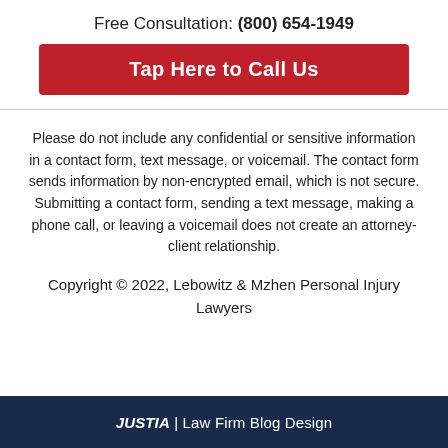Free Consultation: (800) 654-1949
Tap Here to Call Us
Please do not include any confidential or sensitive information in a contact form, text message, or voicemail. The contact form sends information by non-encrypted email, which is not secure. Submitting a contact form, sending a text message, making a phone call, or leaving a voicemail does not create an attorney-client relationship.
Copyright © 2022, Lebowitz & Mzhen Personal Injury Lawyers
JUSTIA | Law Firm Blog Design